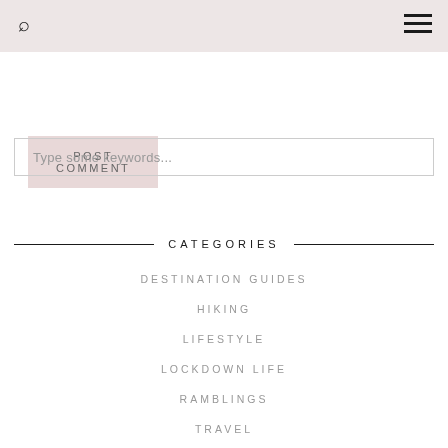Search | Menu
POST COMMENT
Type some keywords...
CATEGORIES
DESTINATION GUIDES
HIKING
LIFESTYLE
LOCKDOWN LIFE
RAMBLINGS
TRAVEL